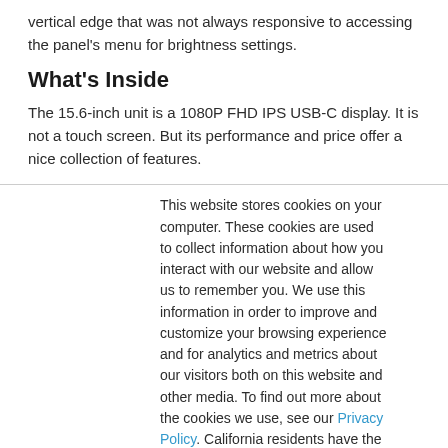vertical edge that was not always responsive to accessing the panel's menu for brightness settings.
What's Inside
The 15.6-inch unit is a 1080P FHD IPS USB-C display. It is not a touch screen. But its performance and price offer a nice collection of features.
This website stores cookies on your computer. These cookies are used to collect information about how you interact with our website and allow us to remember you. We use this information in order to improve and customize your browsing experience and for analytics and metrics about our visitors both on this website and other media. To find out more about the cookies we use, see our Privacy Policy. California residents have the right to direct us not to sell their personal information to third parties by filing an Opt-Out Request: Do Not Sell My Personal Info.
Accept